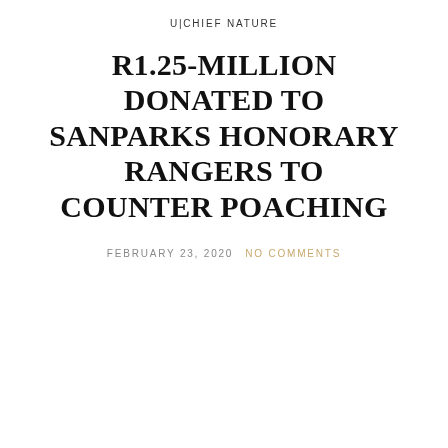U|CHIEF NATURE
R1.25-MILLION DONATED TO SANPARKS HONORARY RANGERS TO COUNTER POACHING
FEBRUARY 23, 2020   NO COMMENTS